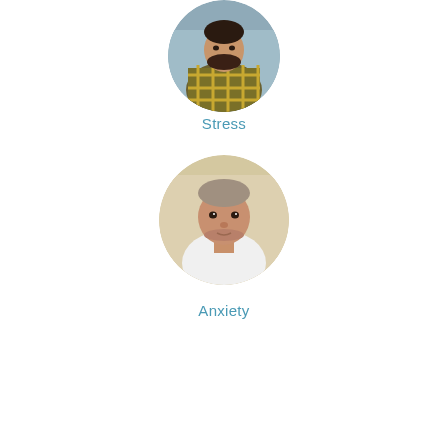[Figure (photo): Circular cropped photo of a person in a plaid/checkered shirt, appearing stressed, photographed indoors with a blueish background. Represents 'Stress' topic.]
Stress
[Figure (photo): Circular cropped photo of a young man with short hair wearing a white shirt, looking sideways with a neutral/anxious expression, photographed against a warm beige background. Represents 'Anxiety' topic.]
Anxiety